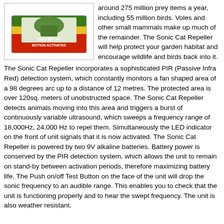[Figure (photo): Product photo of Sonic Cat Repeller box with red and yellow packaging, labeled 'Easy Set Up' and 'Motion Activated']
around 275 million prey items a year, including 55 million birds. Voles and other small mammals make up much of the remainder. The Sonic Cat Repeller will help protect your garden habitat and encourage wildlife and birds back into it. The Sonic Cat Repeller incorporates a sophisticated PIR (Passive Infra Red) detection system, which constantly monitors a fan shaped area of a 98 degrees arc up to a distance of 12 metres. The protected area is over 120sq. meters of unobstructed space. The Sonic Cat Repeller detects animals moving into this area and triggers a burst of continuously variable ultrasound, which sweeps a frequency range of 18,000Hz, 24,000 Hz to repel them. Simultaneously the LED indicator on the front of unit signals that it is now activated. The Sonic Cat Repeller is powered by two 9V alkaline batteries. Battery power is conserved by the PIR detection system, which allows the unit to remain on stand-by between activation periods, therefore maximizing battery life. The Push on/off Test Button on the face of the unit will drop the sonic frequency to an audible range. This enables you to check that the unit is functioning properly and to hear the swept frequency. The unit is also weather resistant.